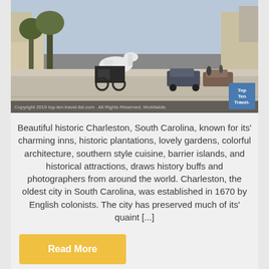[Figure (photo): Street scene in Charleston, South Carolina showing a horse-drawn carriage on a historic street with parked cars and buildings. Copyright 2019 top-ten-travel-list.com logo visible in the bottom right.]
Beautiful historic Charleston, South Carolina, known for its' charming inns, historic plantations, lovely gardens, colorful architecture, southern style cuisine, barrier islands, and historical attractions, draws history buffs and photographers from around the world. Charleston, the oldest city in South Carolina, was established in 1670 by English colonists. The city has preserved much of its' quaint [...]
Read More